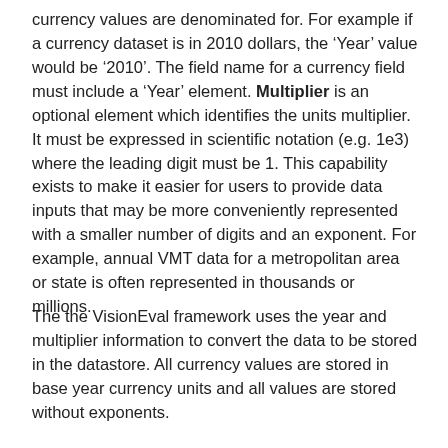currency values are denominated for. For example if a currency dataset is in 2010 dollars, the 'Year' value would be '2010'. The field name for a currency field must include a 'Year' element. Multiplier is an optional element which identifies the units multiplier. It must be expressed in scientific notation (e.g. 1e3) where the leading digit must be 1. This capability exists to make it easier for users to provide data inputs that may be more conveniently represented with a smaller number of digits and an exponent. For example, annual VMT data for a metropolitan area or state is often represented in thousands or millions.
The the VisionEval framework uses the year and multiplier information to convert the data to be stored in the datastore. All currency values are stored in base year currency units and all values are stored without exponents.